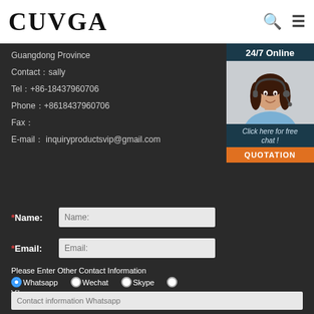CUVGA
Guangdong Province
Contact：sally
Tel：+86-18437960706
Phone：+8618437960706
Fax：
E-mail： inquiryproductsvip@gmail.com
[Figure (photo): 24/7 Online chat widget with photo of a woman wearing a headset, with 'Click here for free chat!' text and QUOTATION button]
*Name:
*Email:
Please Enter Other Contact Information
Whatsapp  Wechat  Skype  Viber
Contact information Whatsapp
Phone: